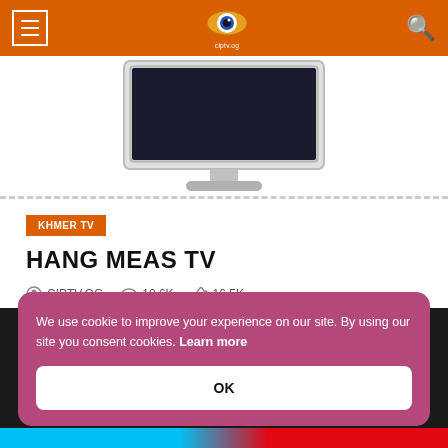CIPTV.OG — Hang Meas TV page header with navigation and logo
[Figure (illustration): Computer monitor/iMac illustration showing a TV display, gray monitor with stand on white background with dotted border]
KHMER TV
HANG MEAS TV
CIPTV.OG   10.6K   16.5K
We use cookie to improve your experience on our site. By using our site you consent cookies. Learn more
OK